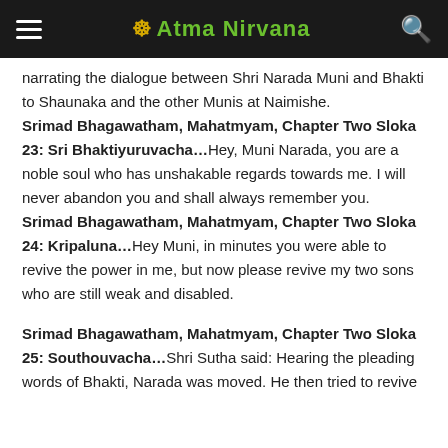Atma Nirvana
narrating the dialogue between Shri Narada Muni and Bhakti to Shaunaka and the other Munis at Naimishe.
Srimad Bhagawatham, Mahatmyam, Chapter Two Sloka 23: Sri Bhaktiyuruvacha…Hey, Muni Narada, you are a noble soul who has unshakable regards towards me. I will never abandon you and shall always remember you.
Srimad Bhagawatham, Mahatmyam, Chapter Two Sloka 24: Kripaluna…Hey Muni, in minutes you were able to revive the power in me, but now please revive my two sons who are still weak and disabled.
Srimad Bhagawatham, Mahatmyam, Chapter Two Sloka 25: Southouvacha…Shri Sutha said: Hearing the pleading words of Bhakti, Narada was moved. He then tried to revive